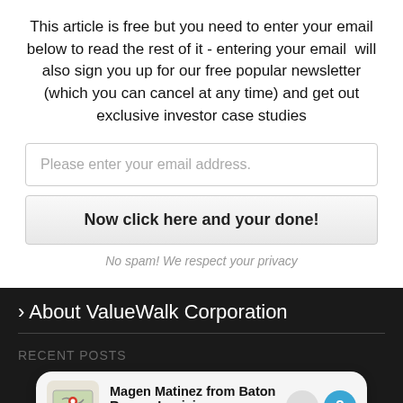This article is free but you need to enter your email below to read the rest of it - entering your email will also sign you up for our free popular newsletter (which you can cancel at any time) and get out exclusive investor case studies
Please enter your email address.
Now click here and your done!
No spam! We respect your privacy
› About ValueWalk Corporation
RECENT POSTS
Magen Matinez from Baton Rouge, Louisiana made a purchase 2 mins ago